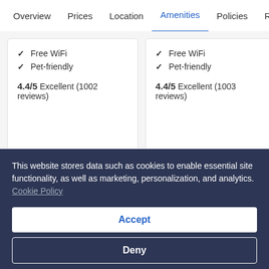Overview | Prices | Location | Amenities (active) | Policies | Re...
✓ Free WiFi
✓ Pet-friendly
4.4/5 Excellent (1002 reviews)
✓ Free WiFi
✓ Pet-friendly
4.4/5 Excellent (1003 reviews)
See similar properties
Tromsø >
Parking included >
This website stores data such as cookies to enable essential site functionality, as well as marketing, personalization, and analytics. Cookie Policy
Accept
Deny